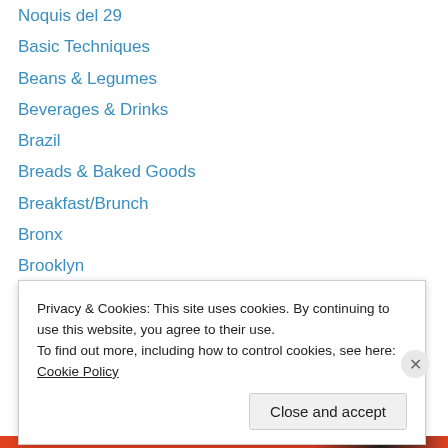Noquis del 29
Basic Techniques
Beans & Legumes
Beverages & Drinks
Brazil
Breads & Baked Goods
Breakfast/Brunch
Bronx
Brooklyn
Cakes, Pies & Tarts
Catching Up
Chile
City
Colombia
Privacy & Cookies: This site uses cookies. By continuing to use this website, you agree to their use.
To find out more, including how to control cookies, see here: Cookie Policy
Close and accept